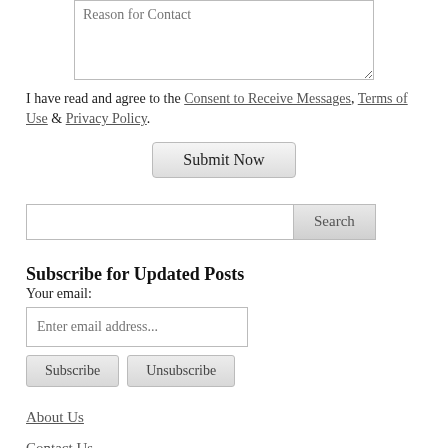[Figure (other): Textarea form field with placeholder text 'Reason for Contact']
I have read and agree to the Consent to Receive Messages, Terms of Use & Privacy Policy.
Submit Now (button)
[Figure (other): Search input field with Search button]
Subscribe for Updated Posts
Your email:
[Figure (other): Email input field with placeholder 'Enter email address...' and Subscribe / Unsubscribe buttons]
About Us
Contact Us